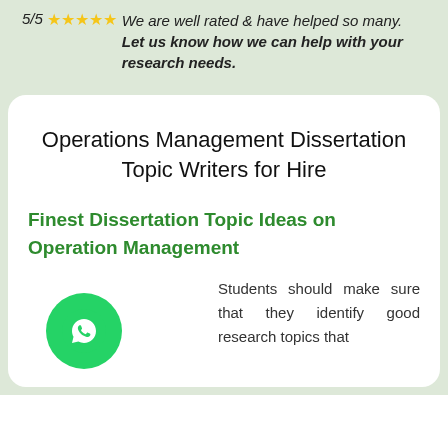5/5 ★★★★★ We are well rated & have helped so many. Let us know how we can help with your research needs.
Operations Management Dissertation Topic Writers for Hire
Finest Dissertation Topic Ideas on Operation Management
Students should make sure that they identify good research topics that
[Figure (logo): WhatsApp green circular button with white phone/chat icon]